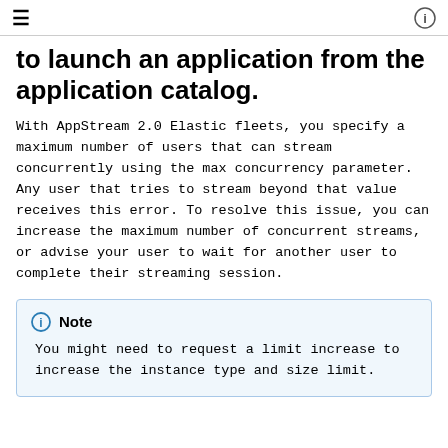≡  ⓘ
to launch an application from the application catalog.
With AppStream 2.0 Elastic fleets, you specify a maximum number of users that can stream concurrently using the max concurrency parameter. Any user that tries to stream beyond that value receives this error. To resolve this issue, you can increase the maximum number of concurrent streams, or advise your user to wait for another user to complete their streaming session.
Note
You might need to request a limit increase to increase the instance type and size limit.